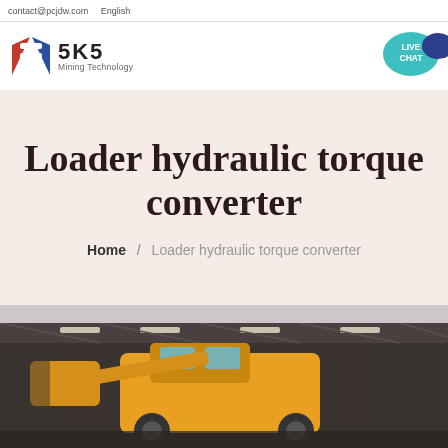contact@pcjdw.com    English
[Figure (logo): SKS Mining Technology logo with red/blue geometric S icon and text 'SKS Mining Technology']
[Figure (illustration): Teal speech bubble with 'LIVE CHAT' text and dark blue chat bubble icon on right]
Loader hydraulic torque converter
Home / Loader hydraulic torque converter
[Figure (photo): Industrial factory interior showing yellow heavy construction loader/equipment on a factory floor with metal roof trusses and industrial lighting overhead]